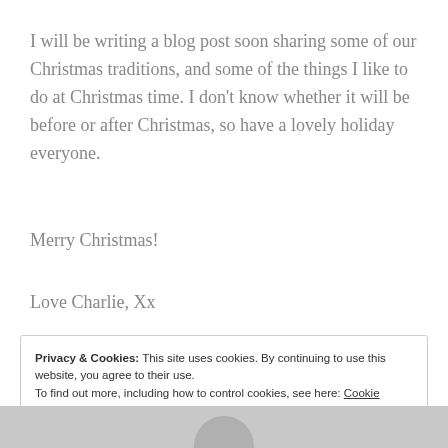I will be writing a blog post soon sharing some of our Christmas traditions, and some of the things I like to do at Christmas time. I don't know whether it will be before or after Christmas, so have a lovely holiday everyone.
Merry Christmas!
Love Charlie, Xx
Privacy & Cookies: This site uses cookies. By continuing to use this website, you agree to their use.
To find out more, including how to control cookies, see here: Cookie Policy
Close and accept
[Figure (photo): Bottom strip showing partial view of a person's head/shoulders photo]